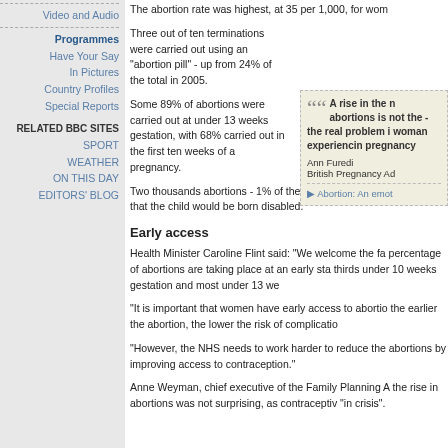Video and Audio
Programmes
Have Your Say
In Pictures
Country Profiles
Special Reports
RELATED BBC SITES
SPORT
WEATHER
ON THIS DAY
EDITORS' BLOG
The abortion rate was highest, at 35 per 1,000, for wom
Three out of ten terminations were carried out using an "abortion pill" - up from 24% of the total in 2005.
Some 89% of abortions were carried out at under 13 weeks gestation, with 68% carried out in the first ten weeks of a pregnancy.
Two thousands abortions - 1% of the total - were carried on grounds that the child would be born disabled.
[Figure (other): Pull quote box: 'A rise in the number of abortions is not the problem - the real problem is a woman experiencing an unwanted pregnancy' - Ann Furedi, British Pregnancy Advisory Service. Link: Abortion: An emot...]
Early access
Health Minister Caroline Flint said: "We welcome the fact a higher percentage of abortions are taking place at an early stage - two thirds under 10 weeks gestation and most under 13 wee
"It is important that women have early access to abortion services - the earlier the abortion, the lower the risk of complicatio
"However, the NHS needs to work harder to reduce the number of abortions by improving access to contraception."
Anne Weyman, chief executive of the Family Planning A the rise in abortions was not surprising, as contraceptiv "in crisis".